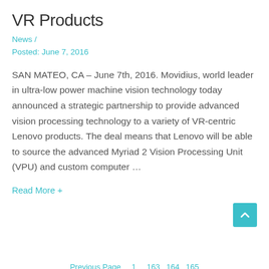VR Products
News /
Posted: June 7, 2016
SAN MATEO, CA – June 7th, 2016. Movidius, world leader in ultra-low power machine vision technology today announced a strategic partnership to provide advanced vision processing technology to a variety of VR-centric Lenovo products. The deal means that Lenovo will be able to source the advanced Myriad 2 Vision Processing Unit (VPU) and custom computer …
Read More +
Previous Page   1   163  164  165